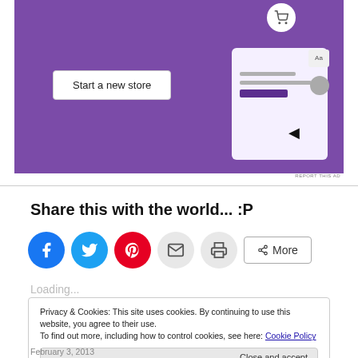[Figure (screenshot): Purple advertisement banner showing 'Start a new store' button with UI mockup elements including a shopping cart icon, document card with lines, and cursor on purple background. 'REPORT THIS AD' label at bottom right.]
Share this with the world... :P
[Figure (infographic): Social sharing icons: Facebook (blue circle), Twitter (blue circle), Pinterest (red circle), Email (grey circle), Print (grey circle), and a 'More' button]
Loading...
Privacy & Cookies: This site uses cookies. By continuing to use this website, you agree to their use.
To find out more, including how to control cookies, see here: Cookie Policy
Close and accept
February 3, 2013